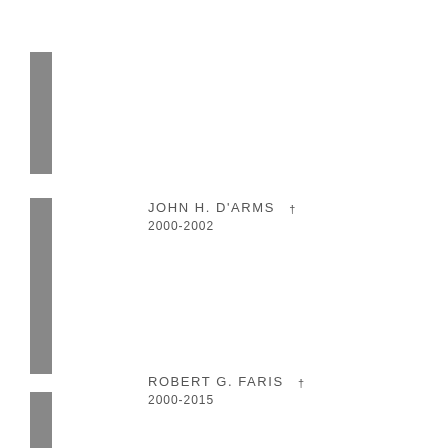JOHN H. D'ARMS † 2000-2002
ROBERT G. FARIS † 2000-2015